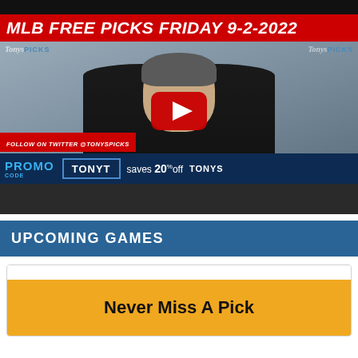[Figure (screenshot): YouTube video thumbnail for 'MLB FREE PICKS FRIDAY 9-2-2022' on TonysPicks channel. Shows a man in dark clothing in front of TonysPicks branded backdrop with YouTube play button overlay. Bottom shows Twitter follow overlay and promo code bar: TONYT saves 20% off TONYS.]
UPCOMING GAMES
Never Miss A Pick